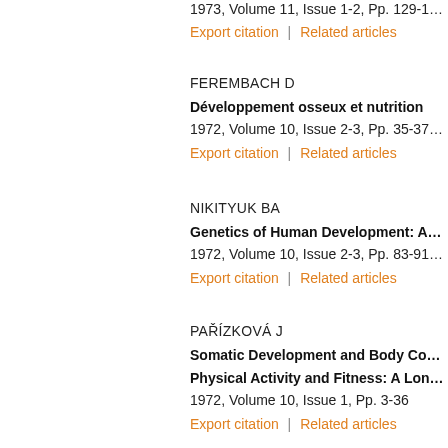1973, Volume 11, Issue 1-2, Pp. 129-1…
Export citation  |  Related articles
FEREMBACH D
Développement osseux et nutrition
1972, Volume 10, Issue 2-3, Pp. 35-37…
Export citation  |  Related articles
NIKITYUK BA
Genetics of Human Development: A…
1972, Volume 10, Issue 2-3, Pp. 83-91…
Export citation  |  Related articles
PAŘÍZKOVÁ J
Somatic Development and Body Co…
Physical Activity and Fitness: A Lon…
1972, Volume 10, Issue 1, Pp. 3-36
Export citation  |  Related articles